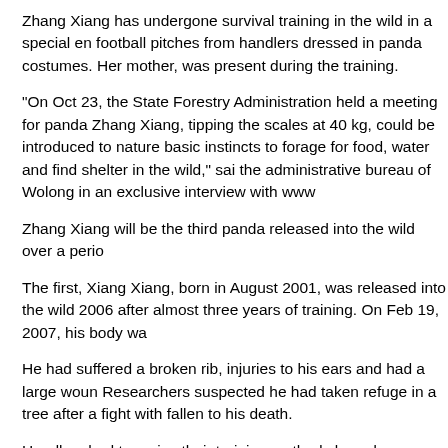Zhang Xiang has undergone survival training in the wild in a special en football pitches from handlers dressed in panda costumes. Her mother, was present during the training.
"On Oct 23, the State Forestry Administration held a meeting for panda Zhang Xiang, tipping the scales at 40 kg, could be introduced to nature basic instincts to forage for food, water and find shelter in the wild," sai the administrative bureau of Wolong in an exclusive interview with www
Zhang Xiang will be the third panda released into the wild over a perio
The first, Xiang Xiang, born in August 2001, was released into the wild 2006 after almost three years of training. On Feb 19, 2007, his body wa
He had suffered a broken rib, injuries to his ears and had a large woun Researchers suspected he had taken refuge in a tree after a fight with fallen to his death.
Handlers had to revise their training methods based on lessons learned Xiang Xiang had initially been raised by humans before receiving survi
Tao Tao, born in Wolong in 2010, was taken care of by his mother Cao approaching them had to be dressed in panda costumes, smeared with
Tao Tao was released into the wild in 2012.
"Pandas are very sensitive to smell. Costumes alone are not enough,"